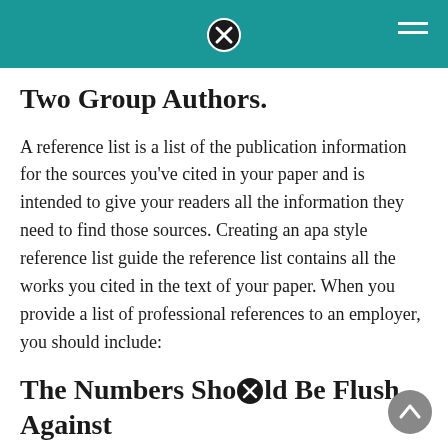Two Group Authors.
A reference list is a list of the publication information for the sources you've cited in your paper and is intended to give your readers all the information they need to find those sources. Creating an apa style reference list guide the reference list contains all the works you cited in the text of your paper. When you provide a list of professional references to an employer, you should include:
The Numbers Should Be Flush Against